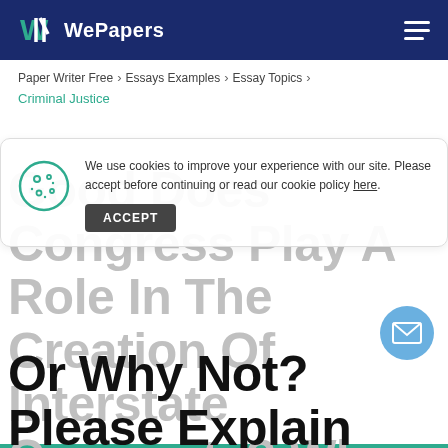WePapers
Paper Writer Free > Essays Examples > Essay Topics > Criminal Justice
We use cookies to improve your experience with our site. Please accept before continuing or read our cookie policy here.
Good Does Congress Play A Role In The Creation Of Interstate Compacts? Why Or Why Not? Please Explain Your Answer. Essay Example